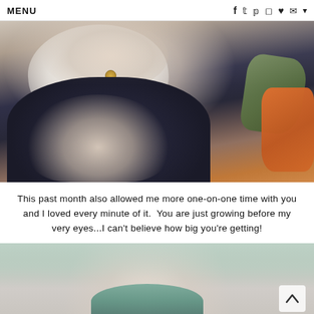MENU  f  t  p  o  ♥  ✉  ▾
[Figure (photo): Close-up photo of a person holding a baby wrapped in white cloth, wearing navy shorts, sitting on a couch. Green and orange fabric visible on the right. A wedding ring is visible on their finger.]
This past month also allowed me more one-on-one time with you and I loved every minute of it.  You are just growing before my very eyes...I can't believe how big you're getting!
[Figure (photo): Partial photo of a woman from the neck down wearing a teal/light green shirt, looking upward.]